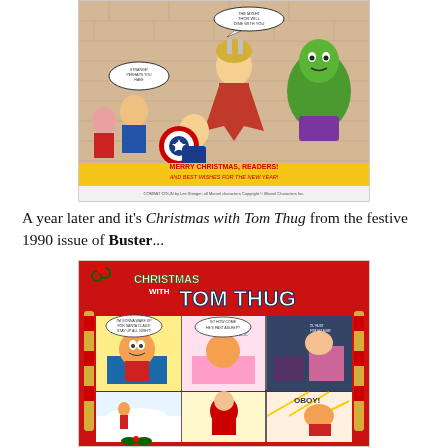[Figure (illustration): A colorful comic strip illustration showing Marvel superheroes including Thor, Hulk, Captain America and others in a chaotic Christmas party scene, with a banner reading 'MERRY CHRISTMAS, READERS! AND BEST WISHES FOR THE NEW YEAR!' Caption at bottom reads 'COMBAT COLIN by Lee Stringer, all Marvel characters Copyright Marvel Characters Inc.']
A year later and it's Christmas with Tom Thug from the festive 1990 issue of Buster...
[Figure (illustration): A Christmas comic strip page titled 'CHRISTMAS WITH TOM THUG' with a red border decorated with Christmas crackers and holly. Shows multiple comic panels featuring a cartoon boy character on Christmas morning, waking up, checking for presents, and other festive scenes.]